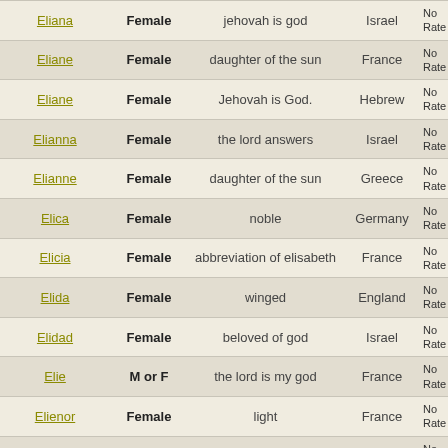| Name | Gender | Meaning | Origin | Rate |
| --- | --- | --- | --- | --- |
| Eliana | Female | jehovah is god | Israel | No
Rate |
| Eliane | Female | daughter of the sun | France | No
Rate |
| Eliane | Female | Jehovah is God. | Hebrew | No
Rate |
| Elianna | Female | the lord answers | Israel | No
Rate |
| Elianne | Female | daughter of the sun | Greece | No
Rate |
| Elica | Female | noble | Germany | No
Rate |
| Elicia | Female | abbreviation of elisabeth | France | No
Rate |
| Elida | Female | winged | England | No
Rate |
| Elidad | Female | beloved of god | Israel | No
Rate |
| Elie | M or F | the lord is my god | France | No
Rate |
| Elienor | Female | light | France | No
Rate |
| Eliisabet | Female | my god is a vow | Estonia | No
Rate |
| Elin | Female | A version of the baby nam ... | Danish | No
Rate |
| Elin | Female | light | Scandinavia | No
Rate |
| Elin | Female | Variant of Helen. Means l ... | Welsh | No
Rate |
| Elina | Female | shining light | Spain | No
Rate |